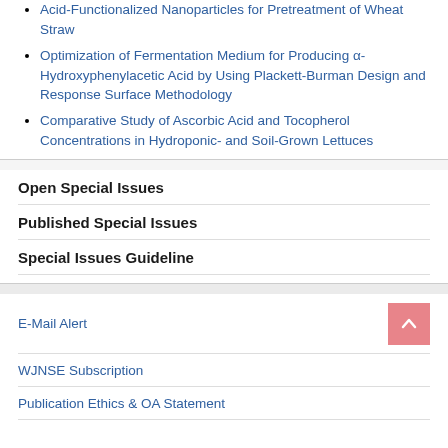Acid-Functionalized Nanoparticles for Pretreatment of Wheat Straw
Optimization of Fermentation Medium for Producing α-Hydroxyphenylacetic Acid by Using Plackett-Burman Design and Response Surface Methodology
Comparative Study of Ascorbic Acid and Tocopherol Concentrations in Hydroponic- and Soil-Grown Lettuces
Open Special Issues
Published Special Issues
Special Issues Guideline
E-Mail Alert
WJNSE Subscription
Publication Ethics & OA Statement